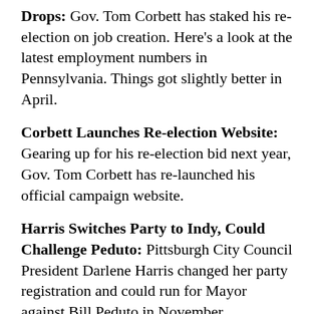Drops: Gov. Tom Corbett has staked his re-election on job creation. Here's a look at the latest employment numbers in Pennsylvania. Things got slightly better in April.
Corbett Launches Re-election Website: Gearing up for his re-election bid next year, Gov. Tom Corbett has re-launched his official campaign website.
Harris Switches Party to Indy, Could Challenge Peduto: Pittsburgh City Council President Darlene Harris changed her party registration and could run for Mayor against Bill Peduto in November.
Statewide